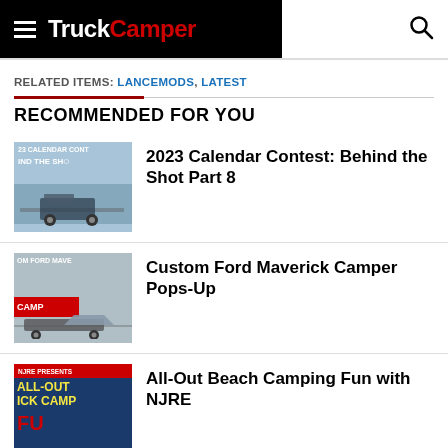TruckCamper
RELATED ITEMS: LANCEMODS, LATEST
RECOMMENDED FOR YOU
[Figure (photo): Thumbnail for 2023 Calendar Contest article showing a truck camper on a road]
2023 Calendar Contest: Behind the Shot Part 8
[Figure (photo): Thumbnail for Custom Ford Maverick Camper Pops-Up article showing a truck with a pop-up tent]
Custom Ford Maverick Camper Pops-Up
[Figure (photo): Thumbnail for All-Out Beach Camping Fun with NJRE article]
All-Out Beach Camping Fun with NJRE